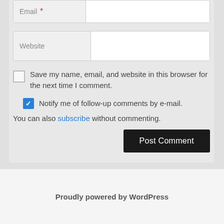Email *
Website
Save my name, email, and website in this browser for the next time I comment.
Notify me of follow-up comments by e-mail.
You can also subscribe without commenting.
Post Comment
Proudly powered by WordPress